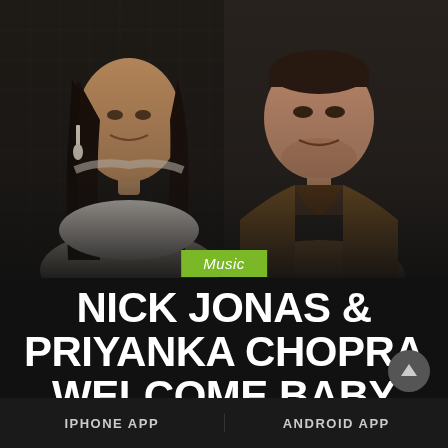[Figure (photo): Priyanka Chopra and Nick Jonas posing together at a formal event, against a dark quilted background. Priyanka on the left wearing white/silver outfit with diamond earrings, Nick on the right in a brown suit.]
Music
NICK JONAS & PRIYANKA CHOPRA WELCOME BABY GIRL
JANUARY 21, 2022 | MICHAEL PERRY
IPHONE APP
ANDROID APP